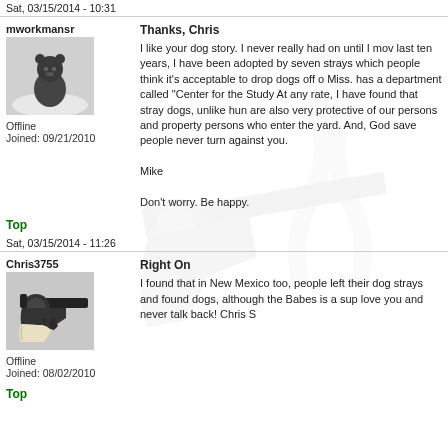Sat, 03/15/2014 - 10:31
mworkmansr
[Figure (photo): Avatar image of a bear in snow]
Offline
Joined: 09/21/2010
Top
Thanks, Chris
I like your dog story. I never really had on until I mov last ten years, I have been adopted by seven strays which people think it's acceptable to drop dogs off o Miss. has a department called "Center for the Study At any rate, I have found that stray dogs, unlike hun are also very protective of our persons and property persons who enter the yard. And, God save people never turn against you.
Mike
Don't worry. Be happy.
Sat, 03/15/2014 - 11:26
Chris3755
[Figure (photo): Avatar image of a revolver handgun]
Offline
Joined: 08/02/2010
Top
Right On
I found that in New Mexico too, people left their dog strays and found dogs, although the Babes is a sup love you and never talk back! Chris S